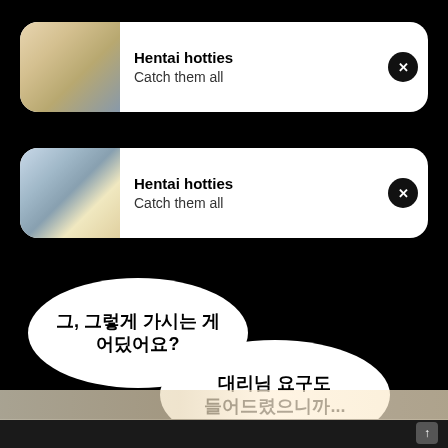[Figure (screenshot): First notification card with anime character image on left, showing Hentai hotties / Catch them all text, and X close button]
Hentai hotties
Catch them all
[Figure (screenshot): Second notification card with different anime character image on left, showing Hentai hotties / Catch them all text, and X close button]
Hentai hotties
Catch them all
그, 그렇게 가시는 게 어딨어요?
대리님 요구도 들어드렸으니까...